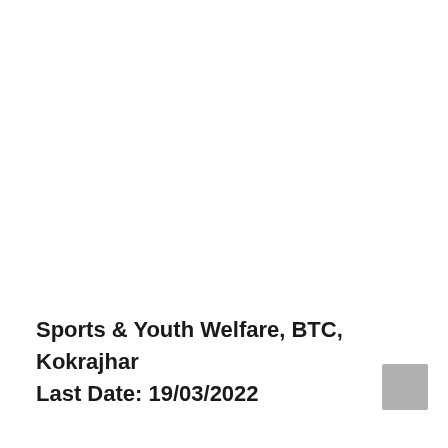Sports & Youth Welfare, BTC, Kokrajhar
Last Date: 19/03/2022